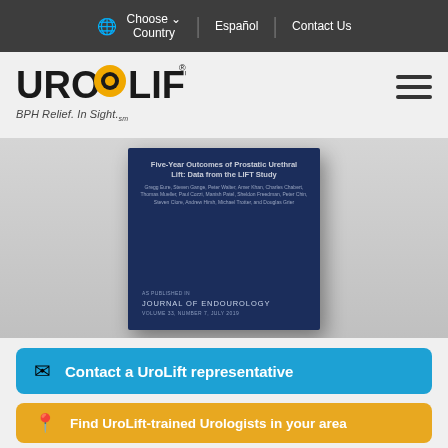Choose Country | Español | Contact Us
[Figure (logo): UroLift logo with tagline 'BPH Relief. In Sight.']
[Figure (photo): Journal of Endourology cover card, Volume 33, Number 7, July 2019. Authors: Gregg Eure, Steven Gange, Peter Walter, Amer Khan, Charles Chabert, Thomas Mueller, Paul Cozzi, Manish Patel, Sheldon Freedman, Peter Chin, Steven Clore, Andrew Hirsh, Michael Trotter, and Douglas Grier.]
Contact a UroLift representative
Find UroLift-trained Urologists in your area